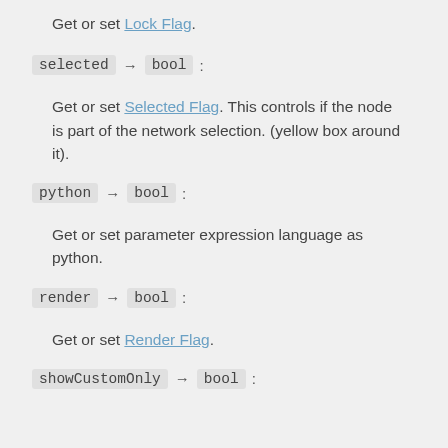Get or set Lock Flag.
selected → bool :
Get or set Selected Flag. This controls if the node is part of the network selection. (yellow box around it).
python → bool :
Get or set parameter expression language as python.
render → bool :
Get or set Render Flag.
showCustomOnly → bool :